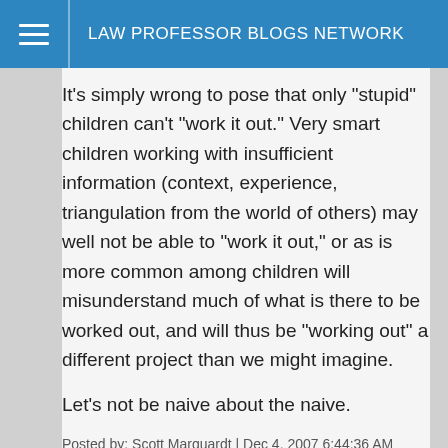LAW PROFESSOR BLOGS NETWORK
It's simply wrong to pose that only "stupid" children can't "work it out." Very smart children working with insufficient information (context, experience, triangulation from the world of others) may well not be able to "work it out," or as is more common among children will misunderstand much of what is there to be worked out, and will thus be "working out" a different project than we might imagine.
Let's not be naive about the naive.
Posted by: Scott Marquardt | Dec 4, 2007 6:44:36 AM
great novels; hope the adaptation to film covers the nuances that your lengthy "critique" did not.